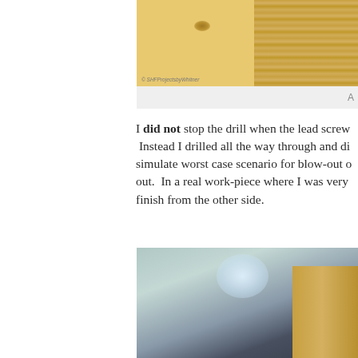[Figure (photo): Close-up photograph of wood surface showing a knotted pine board on the left and oak/hardwood grain on the right, with a copyright watermark. Caption bar below with partial letter 'A' visible.]
I did not stop the drill when the lead screw.  Instead I drilled all the way through and did simulate worst case scenario for blow-out out.  In a real work-piece where I was very finish from the other side.
[Figure (photo): Blurred close-up photograph of a wooden block on a workbench surface, with light bokeh in background.]